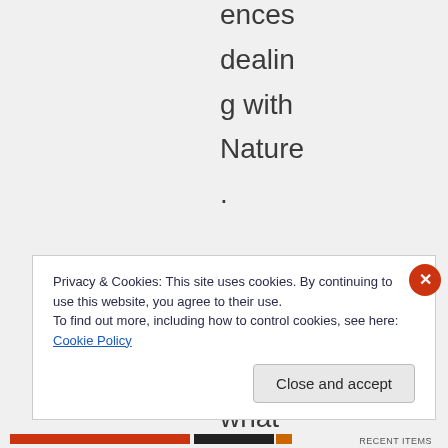ences dealing with Nature. I have no idea what your
Privacy & Cookies: This site uses cookies. By continuing to use this website, you agree to their use. To find out more, including how to control cookies, see here: Cookie Policy
Close and accept